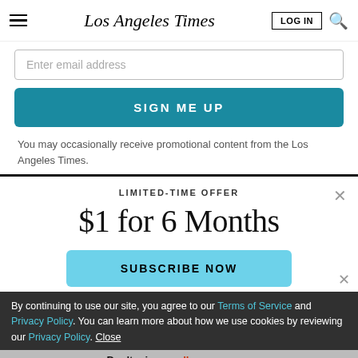Los Angeles Times
Enter email address
SIGN ME UP
You may occasionally receive promotional content from the Los Angeles Times.
LIMITED-TIME OFFER
$1 for 6 Months
SUBSCRIBE NOW
By continuing to use our site, you agree to our Terms of Service and Privacy Policy. You can learn more about how we use cookies by reviewing our Privacy Policy. Close
Don't miss an all-new season